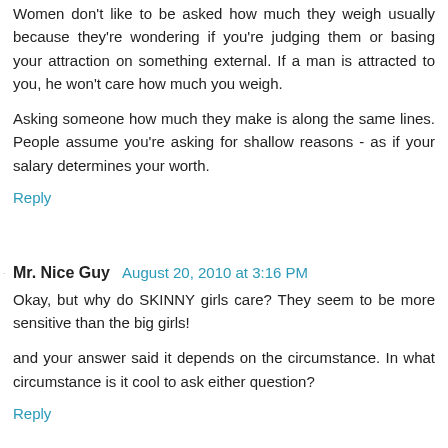Women don't like to be asked how much they weigh usually because they're wondering if you're judging them or basing your attraction on something external. If a man is attracted to you, he won't care how much you weigh.
Asking someone how much they make is along the same lines. People assume you're asking for shallow reasons - as if your salary determines your worth.
Reply
Mr. Nice Guy  August 20, 2010 at 3:16 PM
Okay, but why do SKINNY girls care? They seem to be more sensitive than the big girls!
and your answer said it depends on the circumstance. In what circumstance is it cool to ask either question?
Reply
Domina*tricks  August 20, 2010 at 3:50 PM